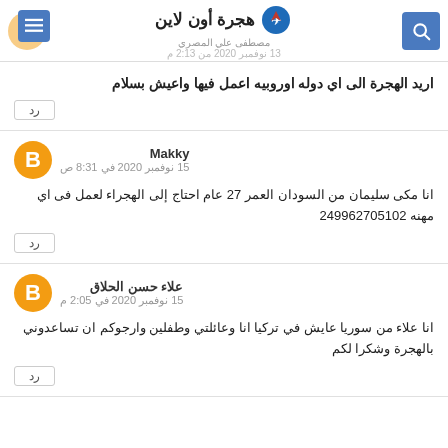هجرة أون لاين - مصطفى علي المصري - 13 نوفمبر 2020 من 2:13 م
اريد الهجرة الى اي دوله اوروبيه اعمل فيها واعيش بسلام
رد
Makky
15 نوفمبر 2020 في 8:31 ص
انا مكى سليمان من السودان العمر 27 عام احتاج إلى الهجراء لعمل فى اي مهنه 249962705102
رد
علاء حسن الحلاق
15 نوفمبر 2020 في 2:05 م
انا علاء من سوريا عايش في تركيا انا وعائلتي وطفلين وارجوكم ان تساعدوني بالهجرة وشكرا لكم
رد